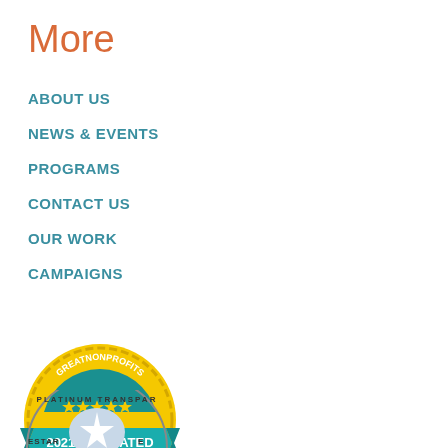More
ABOUT US
NEWS & EVENTS
PROGRAMS
CONTACT US
OUR WORK
CAMPAIGNS
[Figure (logo): GreatNonprofits 2021 Top-Rated Nonprofit badge — gold coin-style seal with teal ribbon banner]
[Figure (logo): Guidestar Platinum Transparency badge — circular seal with silver/blue star icon]